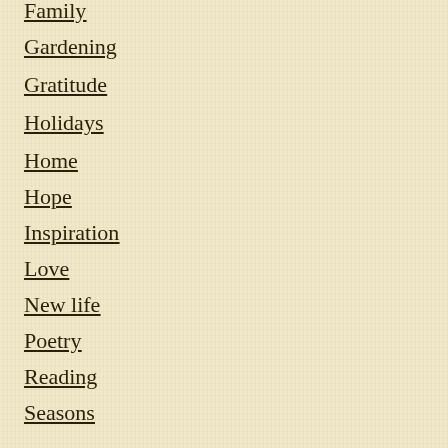Family
Gardening
Gratitude
Holidays
Home
Hope
Inspiration
Love
New life
Poetry
Reading
Seasons
Suicide
Uncategorized
Writing